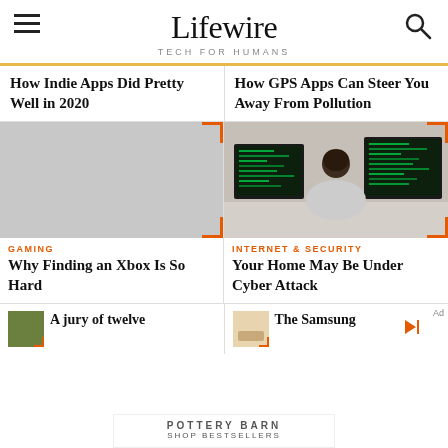Lifewire TECH FOR HUMANS
How Indie Apps Did Pretty Well in 2020
How GPS Apps Can Steer You Away From Pollution
[Figure (photo): Gray placeholder image for gaming article]
GAMING
Why Finding an Xbox Is So Hard
[Figure (photo): Person seen from behind sitting at a desk with two computer monitors showing code]
INTERNET & SECURITY
Your Home May Be Under Cyber Attack
[Figure (screenshot): Article thumbnail with text 'A jury of twelve']
[Figure (screenshot): Article thumbnail with text 'The Samsung']
Ad
POTTERY BARN
SHOP BESTSELLERS